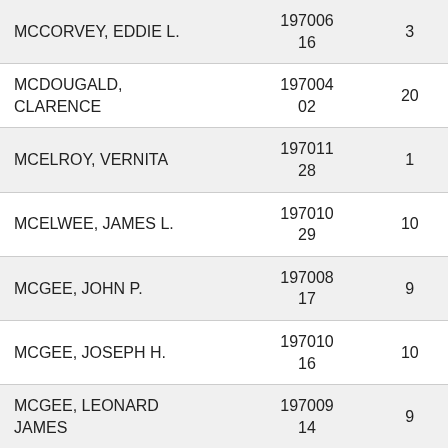| MCCORVEY, EDDIE L. | 197006
16 | 3 |
| MCDOUGALD, CLARENCE | 197004
02 | 20 |
| MCELROY, VERNITA | 197011
28 | 1 |
| MCELWEE, JAMES L. | 197010
29 | 10 |
| MCGEE, JOHN P. | 197008
17 | 9 |
| MCGEE, JOSEPH H. | 197010
16 | 10 |
| MCGEE, LEONARD JAMES | 197009
14 | 9 |